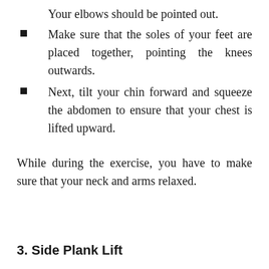Your elbows should be pointed out.
Make sure that the soles of your feet are placed together, pointing the knees outwards.
Next, tilt your chin forward and squeeze the abdomen to ensure that your chest is lifted upward.
While during the exercise, you have to make sure that your neck and arms relaxed.
3. Side Plank Lift